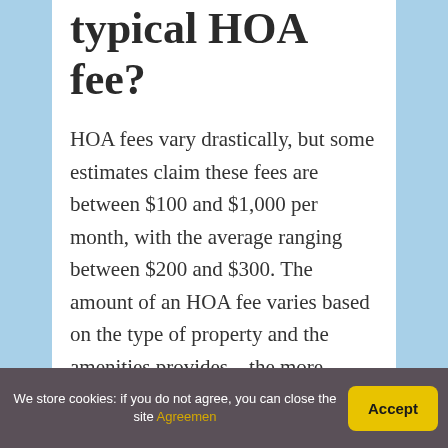typical HOA fee?
HOA fees vary drastically, but some estimates claim these fees are between $100 and $1,000 per month, with the average ranging between $200 and $300. The amount of an HOA fee varies based on the type of property and the amenities provides—the more services and amenities, the higher the fees.
We store cookies: if you do not agree, you can close the site Agreemen | Accept